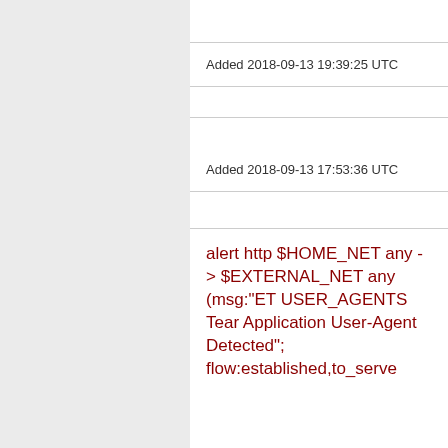Added 2018-09-13 19:39:25 UTC
Added 2018-09-13 17:53:36 UTC
alert http $HOME_NET any -> $EXTERNAL_NET any (msg:"ET USER_AGENTS Tear Application User-Agent Detected"; flow:established,to_serve